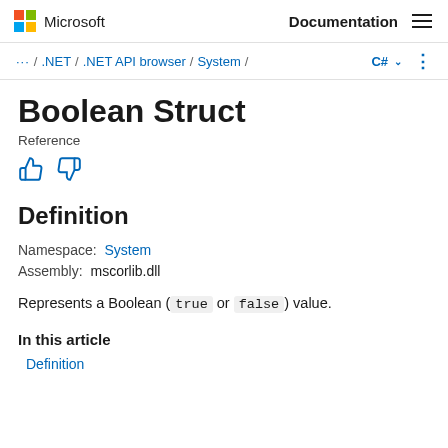Microsoft  Documentation
… / .NET / .NET API browser / System /  C# ▾  ⋮
Boolean Struct
Reference
Definition
Namespace:  System
Assembly:  mscorlib.dll
Represents a Boolean (true or false) value.
In this article
Definition